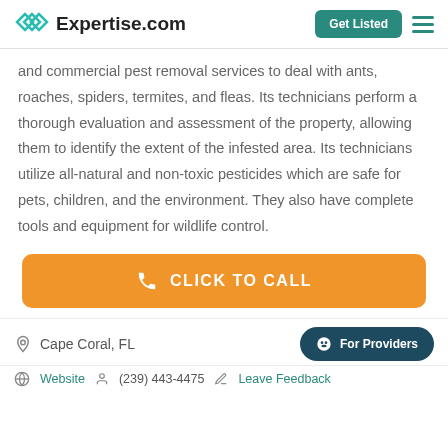Expertise.com | Get Listed
and commercial pest removal services to deal with ants, roaches, spiders, termites, and fleas. Its technicians perform a thorough evaluation and assessment of the property, allowing them to identify the extent of the infested area. Its technicians utilize all-natural and non-toxic pesticides which are safe for pets, children, and the environment. They also have complete tools and equipment for wildlife control.
CLICK TO CALL
Cape Coral, FL
For Providers
Website  (239) 443-4475  Leave Feedback